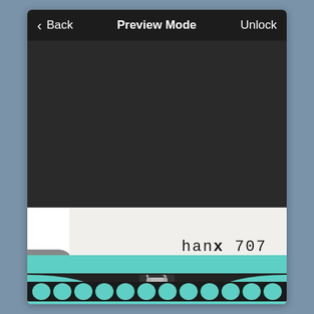[Figure (screenshot): Mobile app screenshot showing a navigation bar with 'Back', 'Preview Mode', and 'Unlock' labels in dark theme, followed by a dark content area and a typewriter keyboard/paper section at the bottom showing the text 'hanx 707' typed on paper, with a vintage teal typewriter visible.]